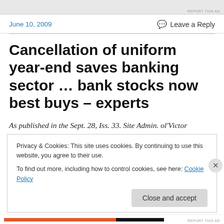REPORT THIS AD
June 10, 2009
Leave a Reply
Cancellation of uniform year-end saves banking sector ... bank stocks now best buys – experts
As published in the Sept. 28, Iss. 33. Site Admin. ol'Victor
Privacy & Cookies: This site uses cookies. By continuing to use this website, you agree to their use.
To find out more, including how to control cookies, see here: Cookie Policy
Close and accept